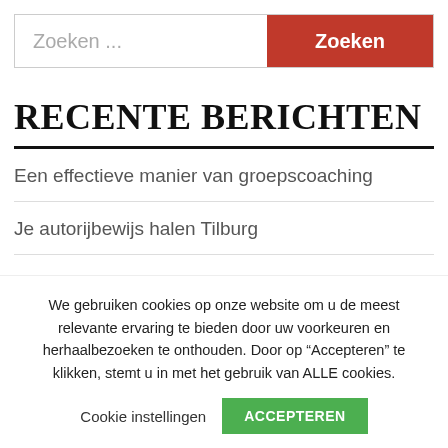Zoeken ...
Zoeken
RECENTE BERICHTEN
Een effectieve manier van groepscoaching
Je autorijbewijs halen Tilburg
We gebruiken cookies op onze website om u de meest relevante ervaring te bieden door uw voorkeuren en herhaalbezoeken te onthouden. Door op “Accepteren” te klikken, stemt u in met het gebruik van ALLE cookies.
Cookie instellingen
ACCEPTEREN